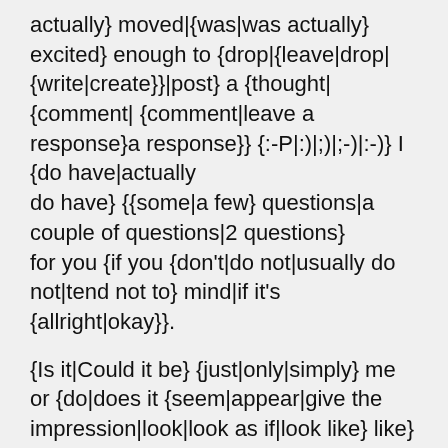actually} moved|{was|was actually} excited} enough to {drop|{leave|drop|{write|create}}|post} a {thought|{comment|{comment|leave a response}a response}} {:-P|:)|;)|;-)|:-)} I {do have|actually do have} {{some|a few} questions|a couple of questions|2 questions} for you {if you {don't|do not|usually do not|tend not to} mind|if it's {allright|okay}}.

{Is it|Could it be} {just|only|simply} me or {do|does it {seem|appear|give the impression|look|look as if|look like} like} {some|a few} of {the|these} {comments|responses|remarks} {look|appear|come across} {like